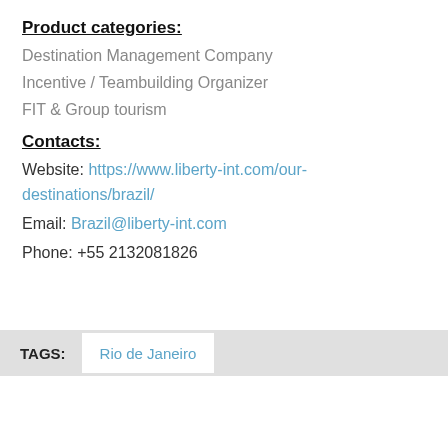Product categories:
Destination Management Company
Incentive / Teambuilding Organizer
FIT & Group tourism
Contacts:
Website: https://www.liberty-int.com/our-destinations/brazil/
Email: Brazil@liberty-int.com
Phone: +55 2132081826
TAGS: Rio de Janeiro